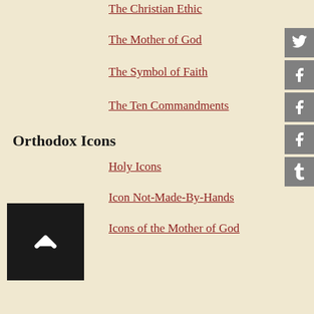The Christian Ethic
The Mother of God
The Symbol of Faith
The Ten Commandments
Orthodox Icons
Holy Icons
Icon Not-Made-By-Hands
Icons of the Mother of God
Orthodox Monasticism
The Monastic Grades
The Monastic Tonsure
Orthodox Prayer
Communing with God in Prayer
The Church's Prayer for the Dead
Orthodox Scripture
The Holy Bible